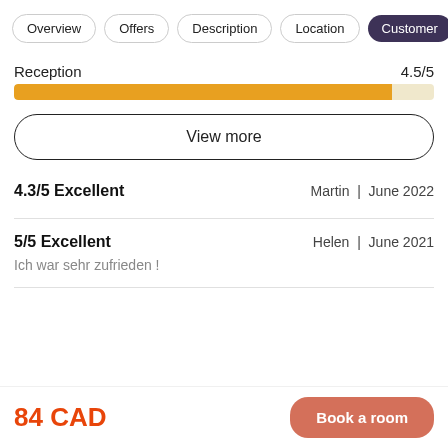Overview | Offers | Description | Location | Customer
Reception 4.5/5
[Figure (other): Horizontal progress bar showing 4.5/5 rating for Reception, approximately 90% filled in orange/gold color]
View more
4.3/5 Excellent    Martin | June 2022
5/5 Excellent    Helen | June 2021
Ich war sehr zufrieden !
84 CAD
Book a room